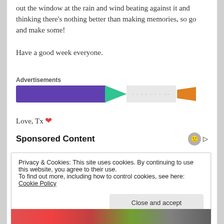out the window at the rain and wind beating against it and thinking there’s nothing better than making memories, so go and make some!
Have a good week everyone.
[Figure (other): Advertisement banner with purple bar, teal arrow, gray middle section with dots, and orange shape]
Love, Tx ❤️
Sponsored Content
Privacy & Cookies: This site uses cookies. By continuing to use this website, you agree to their use.
To find out more, including how to control cookies, see here: Cookie Policy
Close and accept